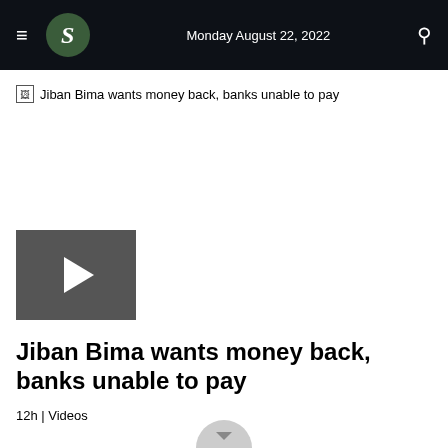Monday August 22, 2022
[Figure (screenshot): Broken image placeholder with alt text: Jiban Bima wants money back, banks unable to pay]
[Figure (other): Video thumbnail with play button (dark grey square with white triangle play icon)]
Jiban Bima wants money back, banks unable to pay
12h | Videos